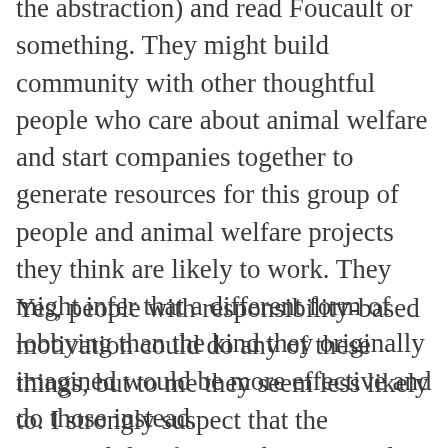the abstraction) and read Foucault or something. They might build community with other thoughtful people who care about animal welfare and start companies together to generate resources for this group of people and animal welfare projects they think are likely to work. They might infer that a different form of lobbying than the kind they originally imagined would be more effective and do those instead.
Yes, people with responsibility-based motivation could do any of these things, but to me they seem less likely to. I strongly suspect that the responsibility framing biases people towards straightforward ways of doing good that only require following